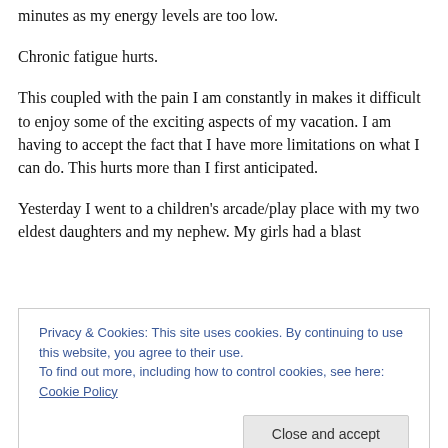minutes as my energy levels are too low.
Chronic fatigue hurts.
This coupled with the pain I am constantly in makes it difficult to enjoy some of the exciting aspects of my vacation. I am having to accept the fact that I have more limitations on what I can do. This hurts more than I first anticipated.
Yesterday I went to a children's arcade/play place with my two eldest daughters and my nephew. My girls had a blast
Privacy & Cookies: This site uses cookies. By continuing to use this website, you agree to their use.
To find out more, including how to control cookies, see here: Cookie Policy